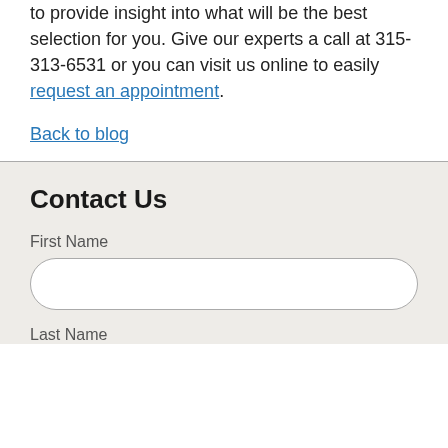to provide insight into what will be the best selection for you. Give our experts a call at 315-313-6531 or you can visit us online to easily request an appointment.
Back to blog
Contact Us
First Name
Last Name